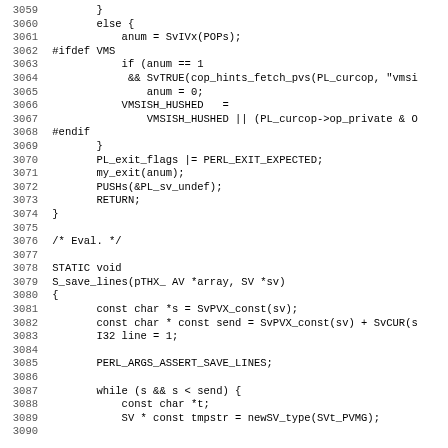Source code listing lines 3059-3090, C/Perl source code including else block, #ifdef VMS block, exit flags, S_save_lines function definition and body